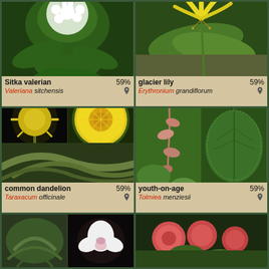[Figure (photo): White flower cluster of Sitka valerian with green leaves]
Sitka valerian 59%
Valeriana sitchensis
[Figure (photo): Yellow drooping glacier lily flower with green leaves]
glacier lily 59%
Erythronium grandiflorum
[Figure (photo): Two images of common dandelion and one of its leaves]
common dandelion 59%
Taraxacum officinale
[Figure (photo): Two images of youth-on-age plant with pink-brown stems and green leaves]
youth-on-age 59%
Tolmiea menziesii
[Figure (photo): Three partial images at the bottom of the page showing various plants]